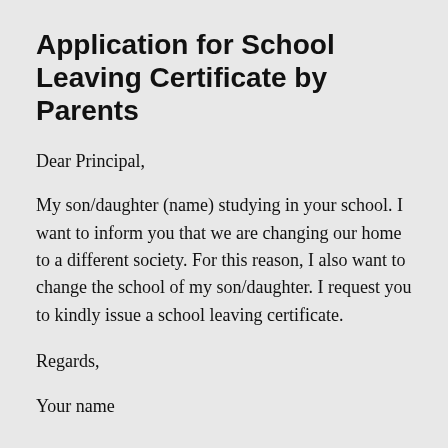Application for School Leaving Certificate by Parents
Dear Principal,
My son/daughter (name) studying in your school. I want to inform you that we are changing our home to a different society. For this reason, I also want to change the school of my son/daughter. I request you to kindly issue a school leaving certificate.
Regards,
Your name